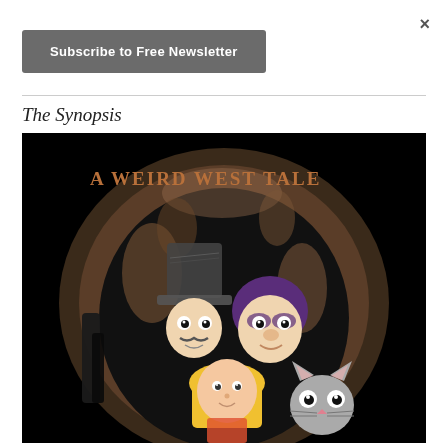×
Subscribe to Free Newsletter
The Synopsis
[Figure (illustration): Book cover illustration for 'A Weird West Tale' showing cartoon characters — a man in a top hat, a woman with purple hair, a blonde girl, and a cat — inside a dark cave or tunnel opening with rocky earth-toned walls.]